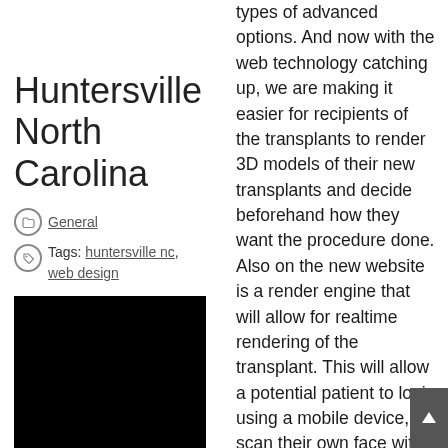Huntersville North Carolina
General
Tags: huntersville nc, web design
[Figure (screenshot): Black image placeholder]
[Figure (screenshot): Small dark website screenshot thumbnail]
types of advanced options. And now with the web technology catching up, we are making it easier for recipients of the transplants to render 3D models of their new transplants and decide beforehand how they want the procedure done. Also on the new website is a render engine that will allow for realtime rendering of the transplant. This will allow a potential patient to login using a mobile device, scan their own face with the built in camera and render a model of the finished procedure. So far this technology has rea